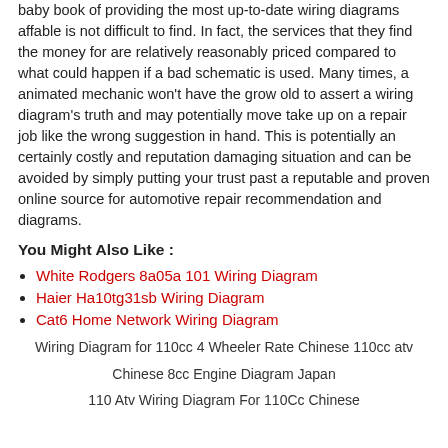baby book of providing the most up-to-date wiring diagrams affable is not difficult to find. In fact, the services that they find the money for are relatively reasonably priced compared to what could happen if a bad schematic is used. Many times, a animated mechanic won't have the grow old to assert a wiring diagram's truth and may potentially move take up on a repair job like the wrong suggestion in hand. This is potentially an certainly costly and reputation damaging situation and can be avoided by simply putting your trust past a reputable and proven online source for automotive repair recommendation and diagrams.
You Might Also Like :
White Rodgers 8a05a 101 Wiring Diagram
Haier Ha10tg31sb Wiring Diagram
Cat6 Home Network Wiring Diagram
Wiring Diagram for 110cc 4 Wheeler Rate Chinese 110cc atv
Chinese 8cc Engine Diagram Japan
110 Atv Wiring Diagram For 110Cc Chinese